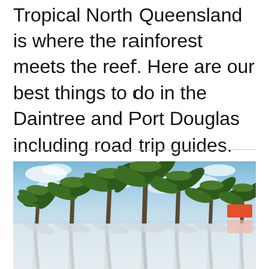Tropical North Queensland is where the rainforest meets the reef. Here are our best things to do in the Daintree and Port Douglas including road trip guides.
[Figure (photo): A photograph of tall palm trees with tropical fronds against a partly cloudy blue sky. The bottom portion of the image shows a reflected/mirrored version of the palm trees in lighter tones. A small orange badge appears in the lower right area of the image.]